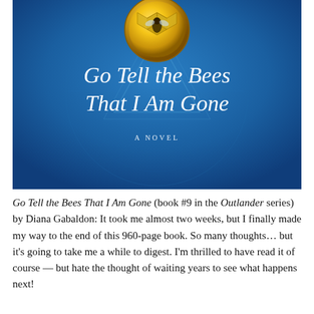[Figure (illustration): Book cover of 'Go Tell the Bees That I Am Gone' — a blue background with ornate Celtic-style patterns, a large gold medallion with a bee and honeycomb design at the top, and italic white serif text reading 'Go Tell the Bees That I Am Gone' with 'A NOVEL' in small caps below.]
Go Tell the Bees That I Am Gone (book #9 in the Outlander series) by Diana Gabaldon: It took me almost two weeks, but I finally made my way to the end of this 960-page book. So many thoughts… but it's going to take me a while to digest. I'm thrilled to have read it of course — but hate the thought of waiting years to see what happens next!